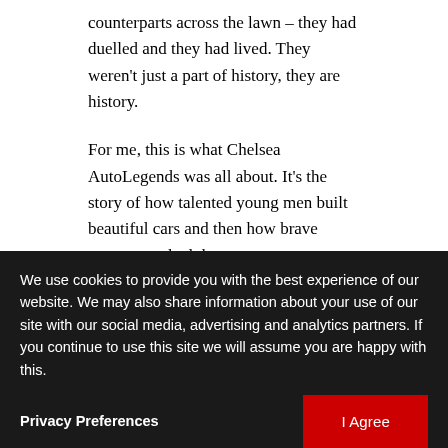counterparts across the lawn – they had duelled and they had lived. They weren't just a part of history, they are history.
For me, this is what Chelsea AutoLegends was all about. It's the story of how talented young men built beautiful cars and then how brave young men had the courage to race them.
One of these was stood at the far end of one of the Hospital's boulevards. The man was Norman Dewis
We use cookies to provide you with the best experience of our website. We may also share information about your use of our site with our social media, advertising and analytics partners. If you continue to use this site we will assume you are happy with this.
period. Norman Dewis not only engineered cars, he
Privacy Preferences
and here he was, at 91 ye
at 9am on a Sunday morning, stood outside and happy